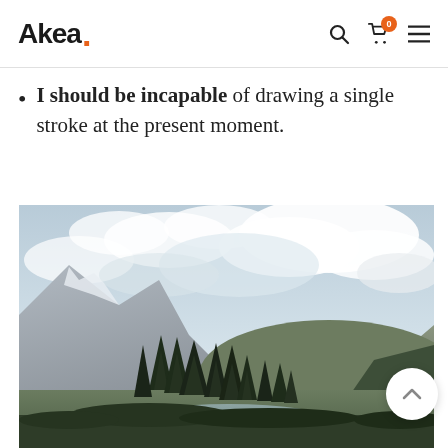Akea .
I should be incapable of drawing a single stroke at the present moment.
[Figure (photo): Landscape photo of alpine mountains with tall pine trees, a meadow/lake in the foreground, and dramatic cloudy sky overhead.]